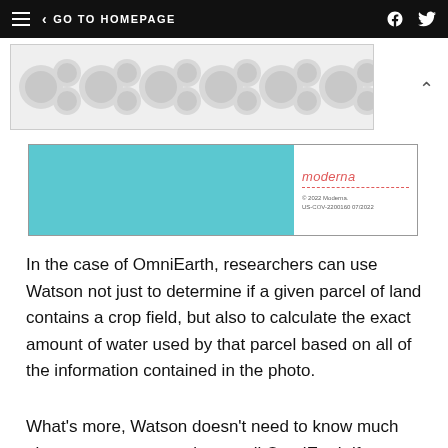≡  < GO TO HOMEPAGE  [facebook] [twitter]
[Figure (illustration): Decorative pattern banner with circular bubble shapes in light grey]
[Figure (illustration): Advertisement banner: teal left panel, right panel with Moderna logo in red italic, fine print '© 2022 Moderna. US-COV-2200160 07/2022']
In the case of OmniEarth, researchers can use Watson not just to determine if a given parcel of land contains a crop field, but also to calculate the exact amount of water used by that parcel based on all of the information contained in the photo.
What's more, Watson doesn't need to know much about water consumption to tell OmniEarth if